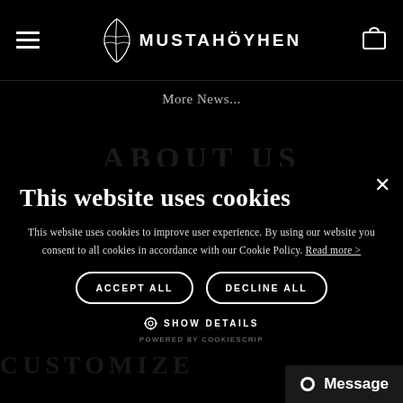≡  MUSTAHÖYHEN  🛒
More News...
This website uses cookies
This website uses cookies to improve user experience. By using our website you consent to all cookies in accordance with our Cookie Policy. Read more >
ACCEPT ALL   DECLINE ALL
⚙ SHOW DETAILS
POWERED BY COOKIESCRIP
● Message